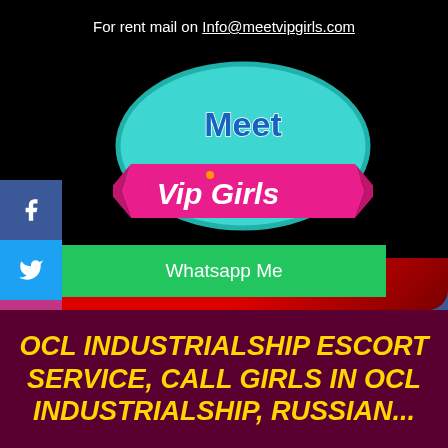For rent mail on Info@meetvipgirls.com
[Figure (logo): Meet VIP Girls logo: teal oval with 'Meet' text in blue bubble letters and a pink ribbon banner with 'Vip Girls' in white text]
Whatsapp Me
Call Now
OCL INDUSTRIALSHIP ESCORT SERVICE, CALL GIRLS IN OCL INDUSTRIALSHIP, RUSSIAN...